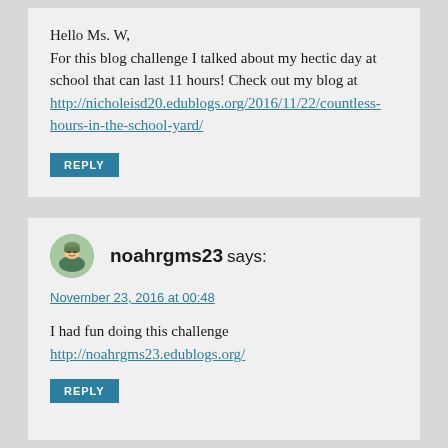Hello Ms. W,
For this blog challenge I talked about my hectic day at school that can last 11 hours! Check out my blog at http://nicholeisd20.edublogs.org/2016/11/22/countless-hours-in-the-school-yard/
REPLY
noahrgms23 says:
November 23, 2016 at 00:48
I had fun doing this challenge
http://noahrgms23.edublogs.org/
REPLY